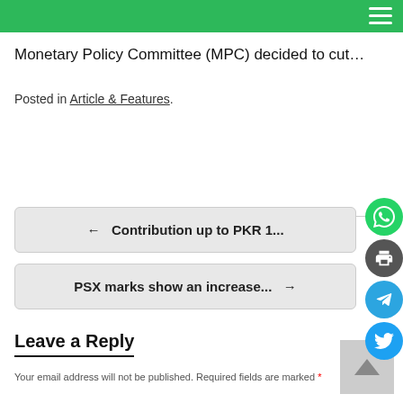Monetary Policy Committee (MPC) decided to cut…
Posted in Article & Features.
← Contribution up to PKR 1...
PSX marks show an increase... →
Leave a Reply
Your email address will not be published. Required fields are marked *